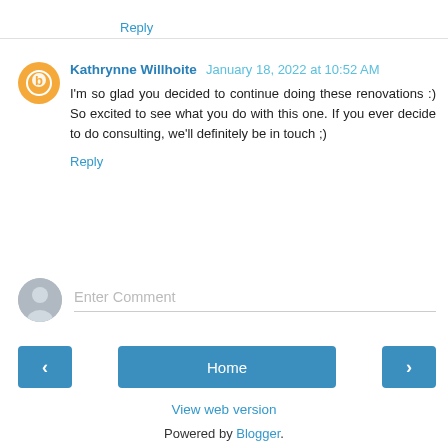Reply
Kathrynne Willhoite January 18, 2022 at 10:52 AM
I'm so glad you decided to continue doing these renovations :) So excited to see what you do with this one. If you ever decide to do consulting, we'll definitely be in touch ;)
Reply
Enter Comment
Home
View web version
Powered by Blogger.